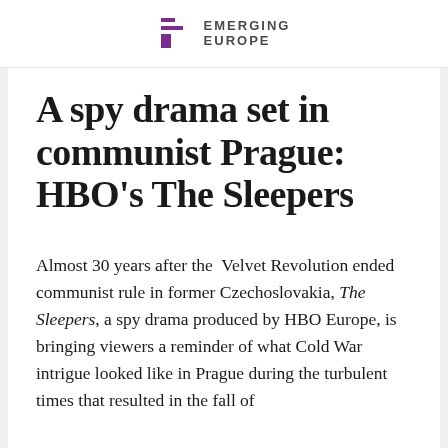EMERGING EUROPE
A spy drama set in communist Prague: HBO's The Sleepers
Almost 30 years after the Velvet Revolution ended communist rule in former Czechoslovakia, The Sleepers, a spy drama produced by HBO Europe, is bringing viewers a reminder of what Cold War intrigue looked like in Prague during the turbulent times that resulted in the fall of